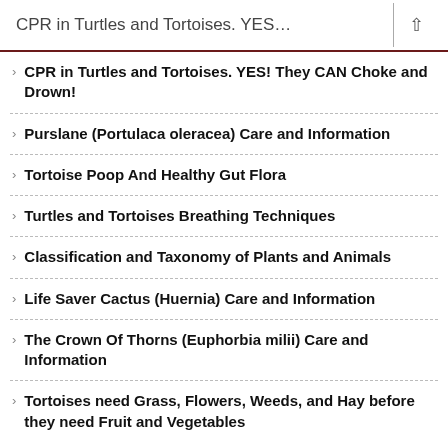CPR in Turtles and Tortoises. YES…
CPR in Turtles and Tortoises. YES! They CAN Choke and Drown!
Purslane (Portulaca oleracea) Care and Information
Tortoise Poop And Healthy Gut Flora
Turtles and Tortoises Breathing Techniques
Classification and Taxonomy of Plants and Animals
Life Saver Cactus (Huernia) Care and Information
The Crown Of Thorns (Euphorbia milii) Care and Information
Tortoises need Grass, Flowers, Weeds, and Hay before they need Fruit and Vegetables